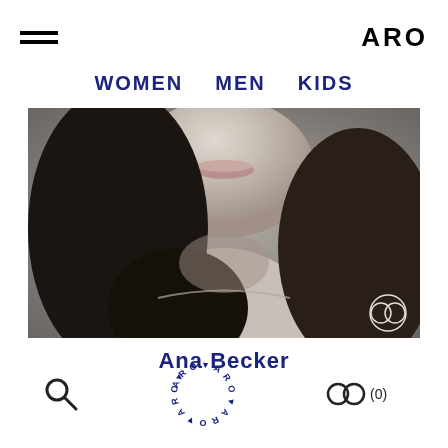ARO
WOMEN  MEN  KIDS
[Figure (photo): Black and white close-up portrait photo of a woman with dark hair, cropped from chin to shoulders, with a circular logo watermark in the bottom right]
Ana Becker
[Figure (logo): ARO text arranged in a circle made of repeating letters, in dark blue/navy color]
[Figure (other): Search icon (magnifying glass) on the left, circular ARO logo in the center, and a link/chain icon with (0) text on the right in the bottom navigation bar]